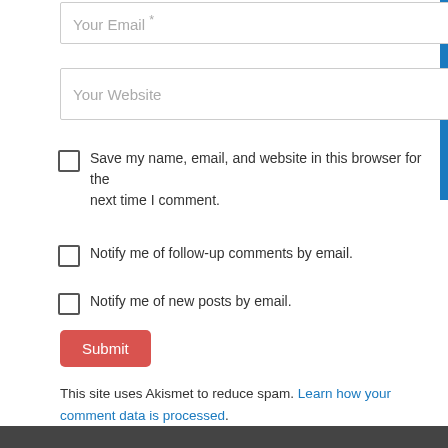Your Email *
Your Website
Save my name, email, and website in this browser for the next time I comment.
Notify me of follow-up comments by email.
Notify me of new posts by email.
Submit
This site uses Akismet to reduce spam. Learn how your comment data is processed.